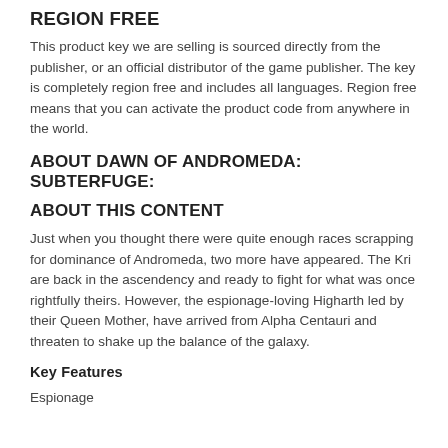REGION FREE
This product key we are selling is sourced directly from the publisher, or an official distributor of the game publisher. The key is completely region free and includes all languages. Region free means that you can activate the product code from anywhere in the world.
ABOUT DAWN OF ANDROMEDA: SUBTERFUGE:
ABOUT THIS CONTENT
Just when you thought there were quite enough races scrapping for dominance of Andromeda, two more have appeared. The Kri are back in the ascendency and ready to fight for what was once rightfully theirs. However, the espionage-loving Higharth led by their Queen Mother, have arrived from Alpha Centauri and threaten to shake up the balance of the galaxy.
Key Features
Espionage